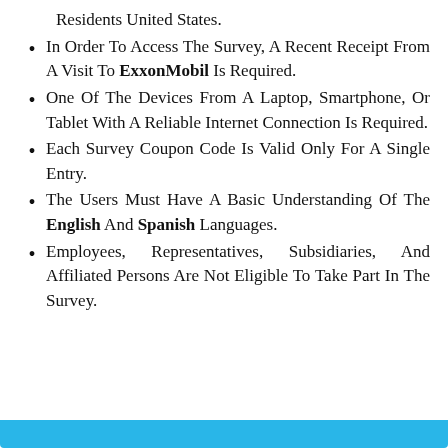Residents United States.
In Order To Access The Survey, A Recent Receipt From A Visit To ExxonMobil Is Required.
One Of The Devices From A Laptop, Smartphone, Or Tablet With A Reliable Internet Connection Is Required.
Each Survey Coupon Code Is Valid Only For A Single Entry.
The Users Must Have A Basic Understanding Of The English And Spanish Languages.
Employees, Representatives, Subsidiaries, And Affiliated Persons Are Not Eligible To Take Part In The Survey.